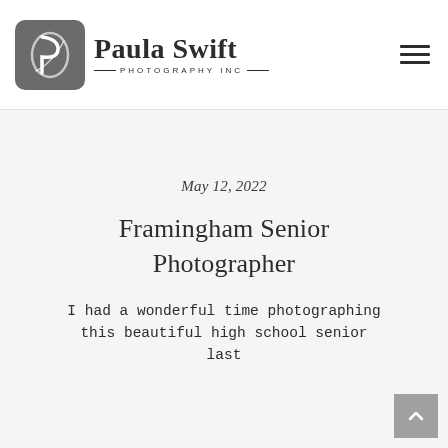[Figure (logo): Paula Swift Photography Inc. logo with a rounded square icon containing a stylized P and the text 'Paula Swift PHOTOGRAPHY INC']
May 12, 2022
Framingham Senior Photographer
I had a wonderful time photographing this beautiful high school senior last